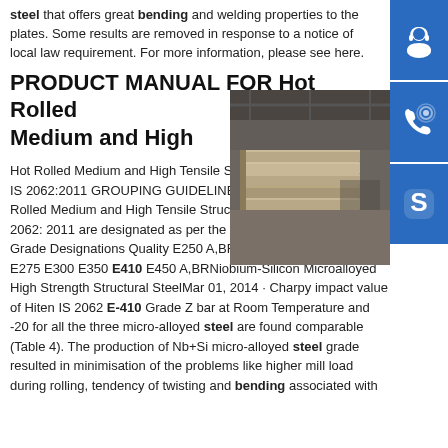steel that offers great bending and welding properties to the plates. Some results are removed in response to a notice of local law requirement. For more information, please see here.
PRODUCT MANUAL FOR Hot Rolled Medium and High
Hot Rolled Medium and High Tensile Structural Steel According to IS 2062:2011 GROUPING GUIDELINES PAGE 1 OF 2 i) Hot Rolled Medium and High Tensile Structure steel according to IS 2062: 2011 are designated as per the following: ----Higher Grade Grade Designations Quality E250 A,BR,B0,C ----> Higher Quality E275 E300 E350 E410 E450 A,BRNiobium-Silicon Microalloyed High Strength Structural SteelMar 01, 2014 · Charpy impact value of Hiten IS 2062 E-410 Grade Z bar at Room Temperature and -20 for all the three micro-alloyed steel are found comparable (Table 4). The production of Nb+Si micro-alloyed steel grade resulted in minimisation of the problems like higher mill load during rolling, tendency of twisting and bending associated with
[Figure (photo): Photo of hot rolled steel plates stacked in an industrial warehouse/facility]
[Figure (illustration): Blue sidebar button with headset/customer service icon]
[Figure (illustration): Blue sidebar button with phone/call icon]
[Figure (illustration): Blue sidebar button with Skype icon]